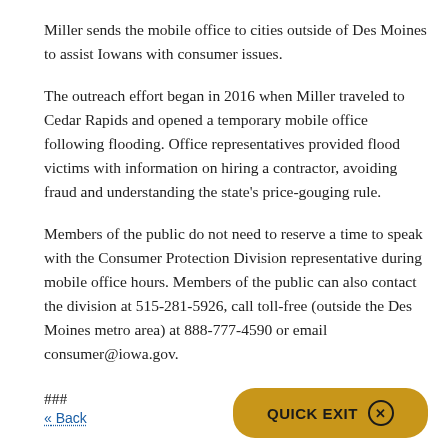Miller sends the mobile office to cities outside of Des Moines to assist Iowans with consumer issues.
The outreach effort began in 2016 when Miller traveled to Cedar Rapids and opened a temporary mobile office following flooding. Office representatives provided flood victims with information on hiring a contractor, avoiding fraud and understanding the state's price-gouging rule.
Members of the public do not need to reserve a time to speak with the Consumer Protection Division representative during mobile office hours. Members of the public can also contact the division at 515-281-5926, call toll-free (outside the Des Moines metro area) at 888-777-4590 or email consumer@iowa.gov.
###
« Back
QUICK EXIT ⊗